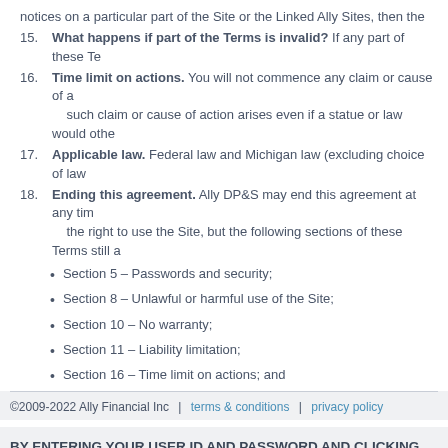notices on a particular part of the Site or the Linked Ally Sites, then the
15. What happens if part of the Terms is invalid? If any part of these Te
16. Time limit on actions. You will not commence any claim or cause of a such claim or cause of action arises even if a statue or law would othe
17. Applicable law. Federal law and Michigan law (excluding choice of law
18. Ending this agreement. Ally DP&S may end this agreement at any tim the right to use the Site, but the following sections of these Terms still a
Section 5 – Passwords and security;
Section 8 – Unlawful or harmful use of the Site;
Section 10 – No warranty;
Section 11 – Liability limitation;
Section 16 – Time limit on actions; and
Section 17 – Applicable law.
BY ENTERING YOUR USER ID AND PASSWORD AND CLICKING THE "“THE TERMS & CONDITIONS.
©2009-2022 Ally Financial Inc  |  terms & conditions  |  privacy policy